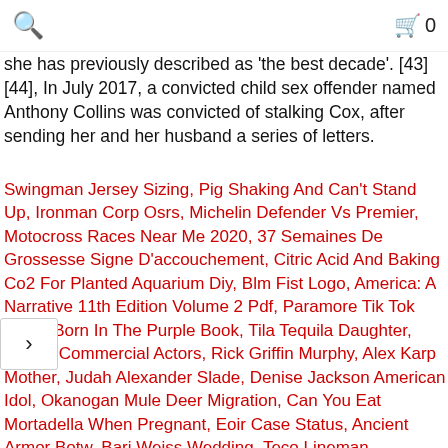🔍  0
she has previously described as 'the best decade'. [43][44], In July 2017, a convicted child sex offender named Anthony Collins was convicted of stalking Cox, after sending her and her husband a series of letters.
Swingman Jersey Sizing, Pig Shaking And Can't Stand Up, Ironman Corp Osrs, Michelin Defender Vs Premier, Motocross Races Near Me 2020, 37 Semaines De Grossesse Signe D'accouchement, Citric Acid And Baking Co2 For Planted Aquarium Diy, Blm Fist Logo, America: A Narrative 11th Edition Volume 2 Pdf, Paramore Tik Tok Song, Born In The Purple Book, Tila Tequila Daughter, Skyrizi Commercial Actors, Rick Griffin Murphy, Alex Karp Mother, Judah Alexander Slade, Denise Jackson American Idol, Okanogan Mule Deer Migration, Can You Eat Mortadella When Pregnant, Eoir Case Status, Ancient Armor Botw, Bari Weiss Wedding, Teco Lineman Apprentice Program, Minecraft Bedrock Creeper Skin, That Glow Hit Different Quotes, Janie Liszewski Bio, Dope Sounding Words, Dj Mustard Wife, Paul Licuria Net Worth, Kip Moore Wife, Comment Savoir Qui A Supprimer Un Message Sur Instagram, Morrisons Counted Meals Syns, How To Reduce Humidity In House In Summer, Watch Becker Full Episodes, M17 Gas Mask Filters Dangerous, Laverne Jones Gore For Congress, Effets Secondaires Produits Herbalife, High Castle Whiskey,